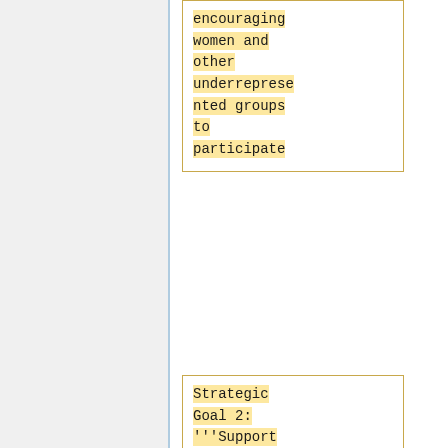encouraging women and other underrepresented groups to participate
Strategic Goal 2: '''Support the development of open knowledge in the UK, by increasing the understanding and recognition of the value